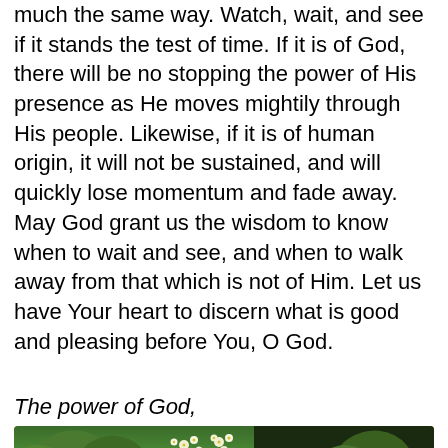much the same way. Watch, wait, and see if it stands the test of time. If it is of God, there will be no stopping the power of His presence as He moves mightily through His people. Likewise, if it is of human origin, it will not be sustained, and will quickly lose momentum and fade away. May God grant us the wisdom to know when to wait and see, and when to walk away from that which is not of Him. Let us have Your heart to discern what is good and pleasing before You, O God.
The power of God,
[Figure (photo): Photo of green plants/leaves with small white flowers, framed with an orange border]